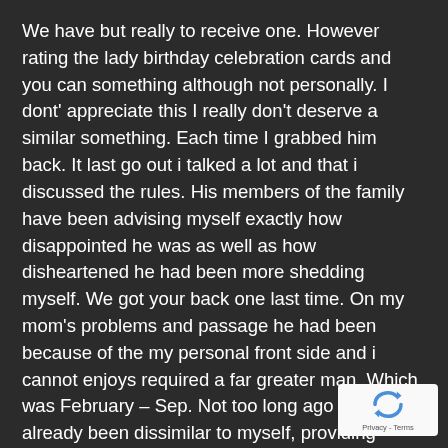We have but really to receive one. However rating the lady birthday celebration cards and you can something although not personally. I dont' appreciate this I really don't deserve a similar something. Each time I grabbed him back. It last go out i talked a lot and that i discussed the rules. His members of the family have been advising myself exactly how disappointed he was as well as how disheartened he had been more shedding myself. We got your back one last time. On my mom's problems and passage he had been because of the my personal front side and i cannot enjoys required a far greater man. Which was February – Sep. Not too long ago he's already been dissimilar to myself, providing home after and later, and sneaking around together with mobile, I have noticed other things as well. I've one 'sixth sense' and you may was most usually proper.
[Figure (logo): reCAPTCHA badge with spinning arrows logo and 'Privacy - Terms' text]